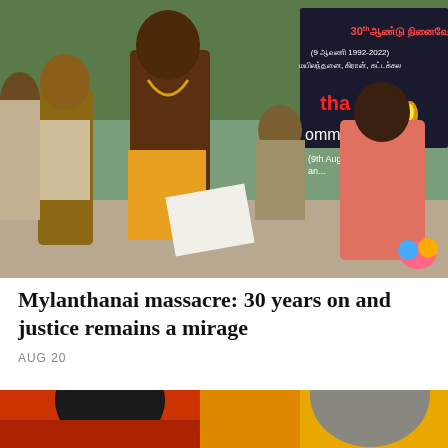[Figure (photo): Outdoor scene with several people standing near a black banner with Tamil text reading '30th ஆண்டு நினைவோ (9 ஆவணி 1992-2022) மயிலந்தனை, கிரான், கட்டக்கல'. A man in a yellow dhoti wearing a gold necklace holds papers. A woman in a pink shirt stands across from him. Other people are visible in the background, and there is fire or a lamp visible.]
Mylanthanai massacre: 30 years on and justice remains a mirage
AUG 20
[Figure (photo): Partial photo showing two people in front of a Sri Lankan flag with red and yellow colors visible.]